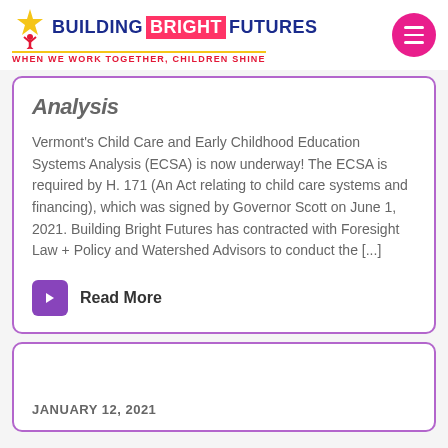[Figure (logo): Building Bright Futures logo with star icon, red figure, and tagline 'When we work together, children shine']
Analysis
Vermont's Child Care and Early Childhood Education Systems Analysis (ECSA) is now underway!  The ECSA is required by H. 171 (An Act relating to child care systems and financing), which was signed by Governor Scott on June 1, 2021.  Building Bright Futures has contracted with Foresight Law + Policy and Watershed Advisors to conduct the [...]
Read More
JANUARY 12, 2021